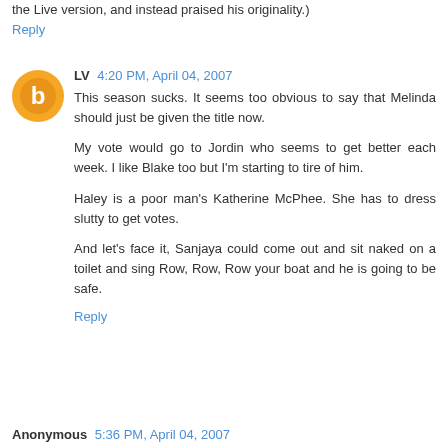the Live version, and instead praised his originality.)
Reply
LV  4:20 PM, April 04, 2007
This season sucks. It seems too obvious to say that Melinda should just be given the title now.

My vote would go to Jordin who seems to get better each week. I like Blake too but I'm starting to tire of him.

Haley is a poor man's Katherine McPhee. She has to dress slutty to get votes.

And let's face it, Sanjaya could come out and sit naked on a toilet and sing Row, Row, Row your boat and he is going to be safe.
Reply
Anonymous  5:36 PM, April 04, 2007